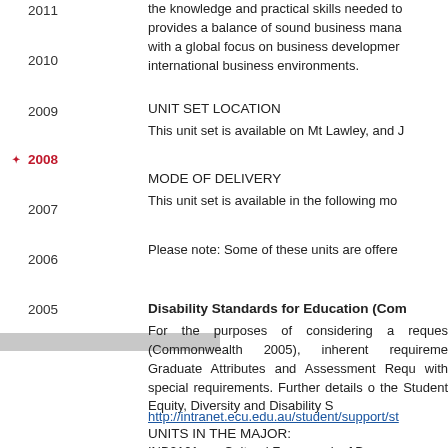2011
2010
2009
2008
2007
2006
2005
the knowledge and practical skills needed to provides a balance of sound business mana with a global focus on business developmer international business environments.
UNIT SET LOCATION
This unit set is available on Mt Lawley, and J
MODE OF DELIVERY
This unit set is available in the following mod
Please note: Some of these units are offere
Disability Standards for Education (Com
For the purposes of considering a reques (Commonwealth 2005), inherent requireme Graduate Attributes and Assessment Requ with special requirements. Further details o the Student Equity, Diversity and Disability S
http://intranet.ecu.edu.au/student/support/st
UNITS IN THE MAJOR:
INB2101          Cultural Framework of Bus